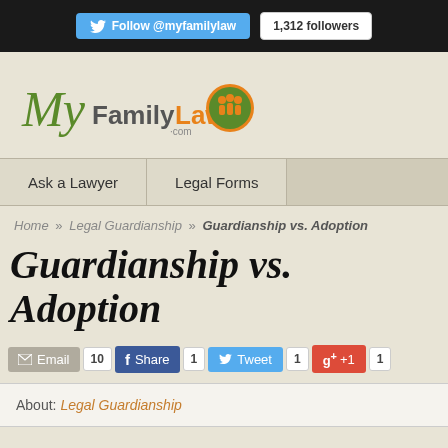Follow @myfamilylaw · 1,312 followers
[Figure (logo): MyFamilyLaw.com logo with cursive My, bold FamilyLaw text and orange circle with green figures icon]
Ask a Lawyer | Legal Forms
Home » Legal Guardianship » Guardianship vs. Adoption
Guardianship vs. Adoption
Email 10 | Share 1 | Tweet 1 | +1 1
About: Legal Guardianship